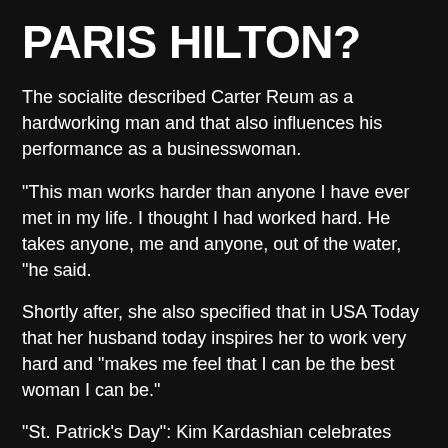PARIS HILTON?
The socialite described Carter Reum as a hardworking man and that also influences his performance as a businesswoman.
“This man works harder than anyone I have ever met in my life. I thought I had worked hard. He takes anyone, me and anyone, out of the water, “he said.
Shortly after, she also specified that in USA Today that her husband today inspires her to work very hard and “makes me feel that I can be the best woman I can be.”
“St. Patrick’s Day”: Kim Kardashian celebrates